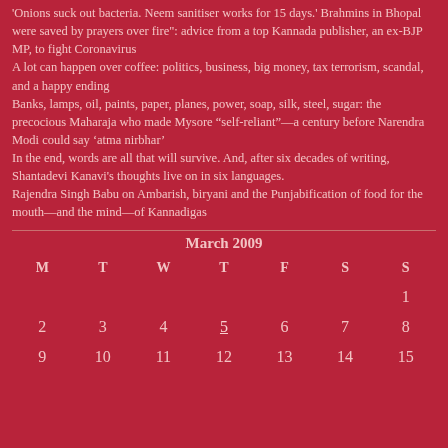'Onions suck out bacteria. Neem sanitiser works for 15 days.' Brahmins in Bhopal were saved by prayers over fire": advice from a top Kannada publisher, an ex-BJP MP, to fight Coronavirus
A lot can happen over coffee: politics, business, big money, tax terrorism, scandal, and a happy ending
Banks, lamps, oil, paints, paper, planes, power, soap, silk, steel, sugar: the precocious Maharaja who made Mysore “self-reliant”—a century before Narendra Modi could say ‘atma nirbhar’
In the end, words are all that will survive. And, after six decades of writing, Shantadevi Kanavi's thoughts live on in six languages.
Rajendra Singh Babu on Ambarish, biryani and the Punjabification of food for the mouth—and the mind—of Kannadigas
| M | T | W | T | F | S | S |
| --- | --- | --- | --- | --- | --- | --- |
|  |  |  |  |  |  | 1 |
| 2 | 3 | 4 | 5 | 6 | 7 | 8 |
| 9 | 10 | 11 | 12 | 13 | 14 | 15 |